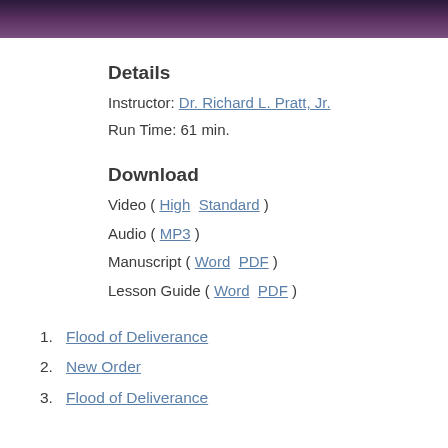[Figure (photo): Dark purple/violet banner image at top of page]
Details
Instructor: Dr. Richard L. Pratt, Jr.
Run Time: 61 min.
Download
Video ( High  Standard )
Audio ( MP3 )
Manuscript ( Word  PDF )
Lesson Guide ( Word  PDF )
Flood of Deliverance
New Order
Flood of Deliverance